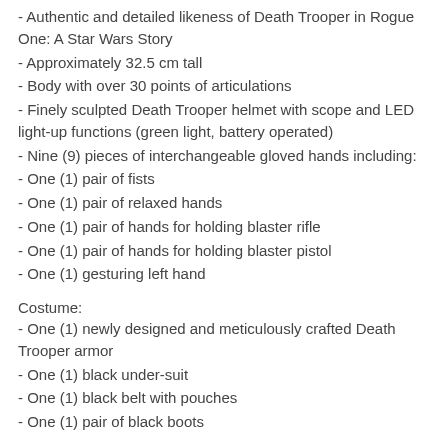- Authentic and detailed likeness of Death Trooper in Rogue One: A Star Wars Story
- Approximately 32.5 cm tall
- Body with over 30 points of articulations
- Finely sculpted Death Trooper helmet with scope and LED light-up functions (green light, battery operated)
- Nine (9) pieces of interchangeable gloved hands including:
- One (1) pair of fists
- One (1) pair of relaxed hands
- One (1) pair of hands for holding blaster rifle
- One (1) pair of hands for holding blaster pistol
- One (1) gesturing left hand
Costume:
- One (1) newly designed and meticulously crafted Death Trooper armor
- One (1) black under-suit
- One (1) black belt with pouches
- One (1) pair of black boots